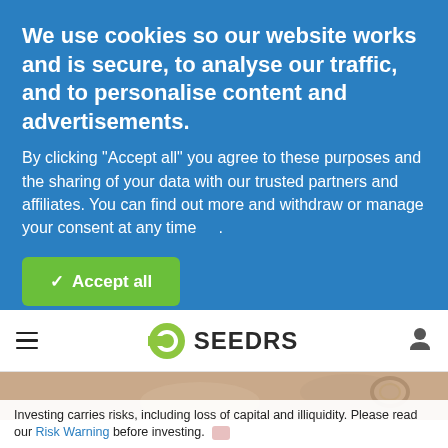We use cookies so our website works and is secure, to analyse our traffic, and to personalise content and advertisements.
By clicking "Accept all" you agree to these purposes and the sharing of your data with our trusted partners and affiliates. You can find out more and withdraw or manage your consent at any time .
✓ Accept all
⚙ Choose cookies
[Figure (logo): Seedrs logo — green circular icon and SEEDRS wordmark]
Investing carries risks, including loss of capital and illiquidity. Please read our Risk Warning before investing.